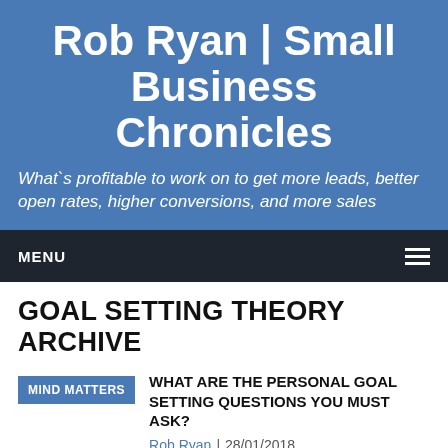Rob Ryan | Small Business Chronicles
What`s profitable to work on to get more leads, better open rates, higher conversions, and more sales
MENU
GOAL SETTING THEORY ARCHIVE
MIND MATTERS
WHAT ARE THE PERSONAL GOAL SETTING QUESTIONS YOU MUST ASK?
Rob Ryan | 28/01/2018
Did You Fall under The Biggest Trap of goal setting that most people do? .... Setting goals is a terrific thing to do